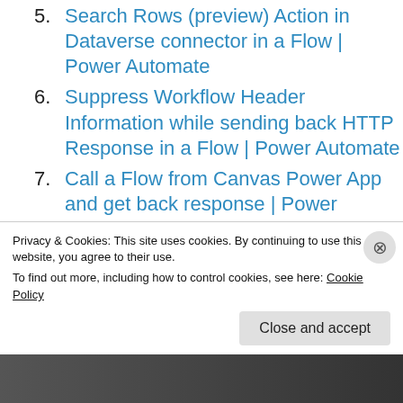5. Search Rows (preview) Action in Dataverse connector in a Flow | Power Automate
6. Suppress Workflow Header Information while sending back HTTP Response in a Flow | Power Automate
7. Call a Flow from Canvas Power App and get back response | Power Platform\
8. FetchXML Aggregation in a Flow using CDS (Current Environment) connector
Privacy & Cookies: This site uses cookies. By continuing to use this website, you agree to their use. To find out more, including how to control cookies, see here: Cookie Policy
Close and accept